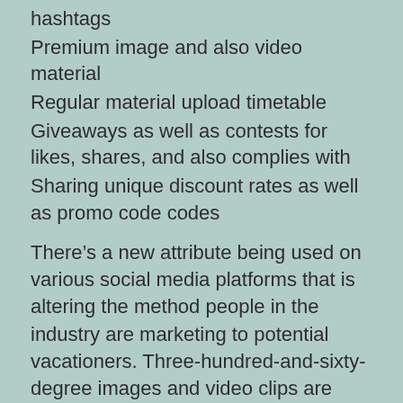hashtags
Premium image and also video material
Regular material upload timetable
Giveaways as well as contests for likes, shares, and also complies with
Sharing unique discount rates as well as promo code codes
There’s a new attribute being used on various social media platforms that is altering the method people in the industry are marketing to potential vacationers. Three-hundred-and-sixty-degree images and video clips are permitting businesses from all over the globe